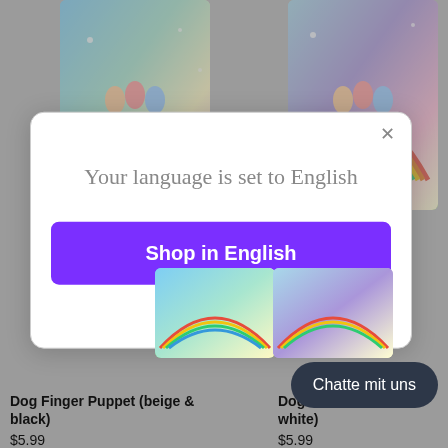[Figure (screenshot): Background product image top-left: colorful finger puppet book with rainbow design and 'collect them all!' label]
[Figure (screenshot): Background product image top-right: colorful finger puppet book with rainbow design and 'collect them all!' label]
Your language is set to English
Shop in English
Change language
[Figure (screenshot): Background product image bottom-left with 'collect them all!' label]
[Figure (screenshot): Background product image bottom-right thumbnail]
Dog Finger Puppet (beige & black)
$5.99
Dog Fin... white)
$5.99
Chatte mit uns